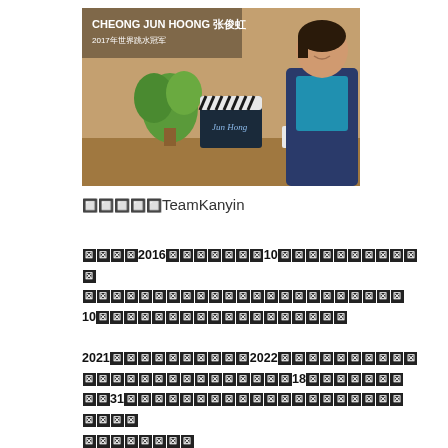[Figure (photo): Photo of Cheong Jun Hoong with text overlay: CHEONG JUN HOONG 张俊虹, 2017年世界跳水冠军. Woman sitting at a table with a clapperboard, plant, and mug.]
🔲🔲🔲🔲🔲TeamKanyin
🔲🔲🔲🔲2016🔲🔲🔲🔲🔲🔲🔲10🔲🔲🔲🔲🔲🔲🔲🔲🔲🔲🔲🔲🔲🔲🔲🔲🔲🔲🔲🔲🔲🔲🔲🔲🔲🔲🔲🔲🔲🔲🔲🔲🔲10🔲🔲🔲🔲🔲🔲🔲🔲🔲🔲🔲🔲🔲🔲🔲🔲🔲🔲🔲
2021🔲🔲🔲🔲🔲🔲🔲🔲🔲🔲2022🔲🔲🔲🔲🔲🔲🔲🔲🔲🔲🔲🔲🔲🔲🔲🔲🔲🔲🔲🔲🔲18🔲🔲🔲🔲🔲🔲🔲🔲🔲🔲🔲31🔲🔲🔲🔲🔲🔲🔲🔲🔲🔲🔲🔲🔲🔲🔲🔲🔲🔲🔲🔲🔲🔲🔲🔲🔲🔲🔲
🔲🔲🔲🔲🔲🔲🔲🔲